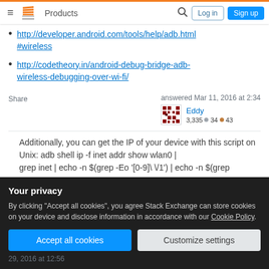Stack Overflow navigation bar with Products, Log in, Sign up
http://developer.android.com/tools/help/adb.html#wireless
http://codetheory.in/android-debug-bridge-adb-wireless-debugging-over-wi-fi/
Share	answered Mar 11, 2016 at 2:34
Eddy
3,335  34  43
Additionally, you can get the IP of your device with this script on Unix: adb shell ip -f inet addr show wlan0 | grep inet | echo -n $(grep -Eo '[0-9]\./1') | echo -n $(grep
Your privacy
By clicking "Accept all cookies", you agree Stack Exchange can store cookies on your device and disclose information in accordance with our Cookie Policy.
Accept all cookies  Customize settings
29, 2016 at 12:56